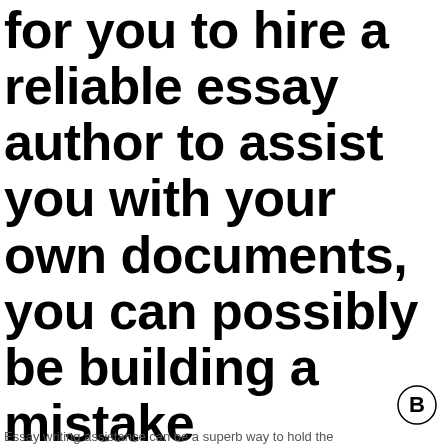for you to hire a reliable essay author to assist you with your own documents, you can possibly be building a mistake
[Figure (logo): Circled letter B logo in bottom right corner]
Essay writing assistance can be a superb way to hold the